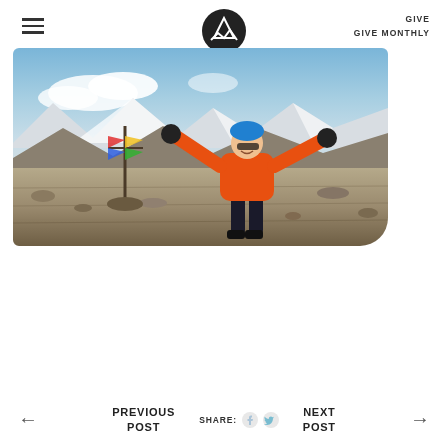≡  [mountain logo]  GIVE  GIVE MONTHLY
[Figure (photo): Person in orange jacket and blue helmet celebrating with arms outstretched on a rocky mountain summit, with prayer flags on a cross marker and snow-capped peaks in the background]
← PREVIOUS POST   SHARE: [Facebook] [Twitter]   NEXT POST →